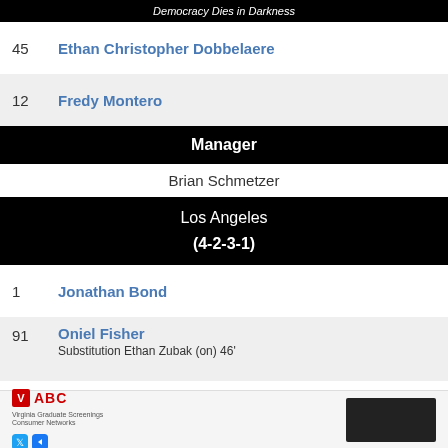Democracy Dies in Darkness
45 Ethan Christopher Dobbelaere
12 Fredy Montero
Manager
Brian Schmetzer
Los Angeles (4-2-3-1)
1 Jonathan Bond
91 Oniel Fisher
Substitution Ethan Zubak (on) 46'
5 Daniel Steres
[Figure (other): Advertisement banner with WABC logo and a dark rectangular placeholder]